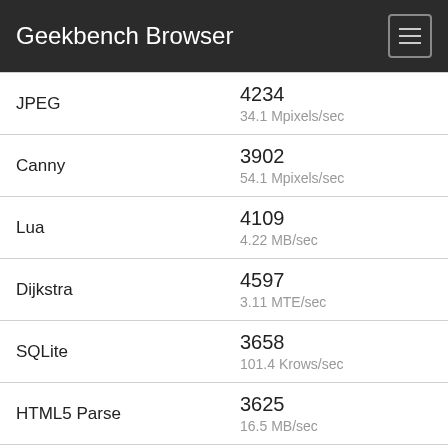Geekbench Browser
| Benchmark | Score |
| --- | --- |
| JPEG | 4234
34.1 Mpixels/sec |
| Canny | 3902
54.1 Mpixels/sec |
| Lua | 4109
4.22 MB/sec |
| Dijkstra | 4597
3.11 MTE/sec |
| SQLite | 3658
101.4 Krows/sec |
| HTML5 Parse | 3625
16.5 MB/sec |
| HTML5 DOM | 4888
4.43 MElements/sec |
| Histogram Equalization | 3827
119.6 Mpixels/sec |